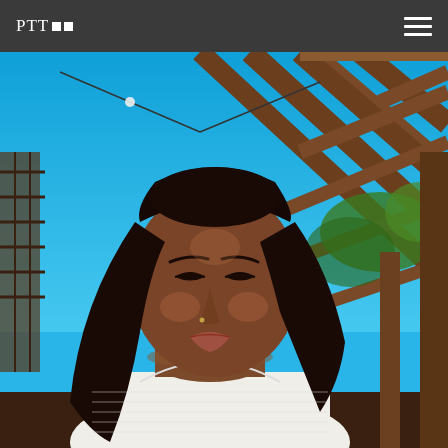PTT□□
[Figure (photo): Portrait photo of a young woman with long dark hair, wearing a white ribbed tank top, eyes slightly downcast, outdoors in bright sunlight with a wooden lattice/pergola structure and blue sky in the background.]